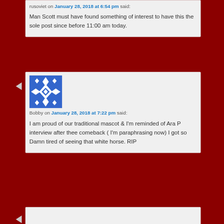rusoviet on January 28, 2018 at 6:54 pm said: Man Scott must have found something of interest to have this the sole post since before 11:00 am today.
[Figure (illustration): Blue and white geometric pattern avatar icon for user Bobby]
Bobby on January 28, 2018 at 7:22 pm said: I am proud of our traditional mascot & I'm reminded of Ara P interview after thee comeback ( I'm paraphrasing now) I got so Damn tired of seeing that white horse. RIP